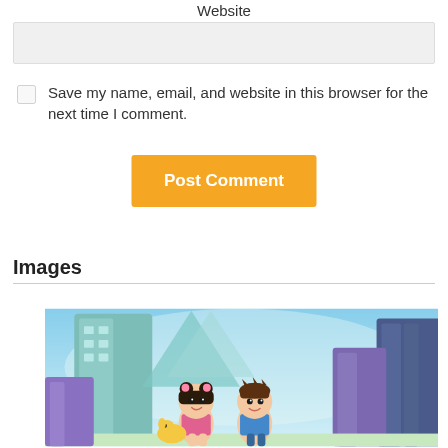Website
Save my name, email, and website in this browser for the next time I comment.
Post Comment
Images
[Figure (illustration): Cartoon illustration of two animated children characters standing in front of a futuristic city skyline with teal and purple buildings]